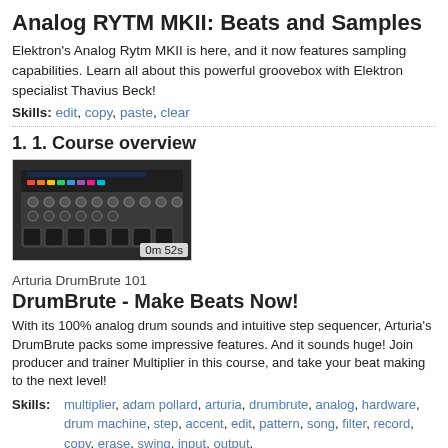Analog RYTM MKII: Beats and Samples
Elektron's Analog Rytm MKII is here, and it now features sampling capabilities. Learn all about this powerful groovebox with Elektron specialist Thavius Beck!
Skills: edit, copy, paste, clear
1. 1. Course overview
[Figure (photo): Thumbnail image of Analog RYTM MKII hardware unit, showing knobs and pads, with duration label '0m 52s']
Arturia DrumBrute 101
DrumBrute - Make Beats Now!
With its 100% analog drum sounds and intuitive step sequencer, Arturia's DrumBrute packs some impressive features. And it sounds huge! Join producer and trainer Multiplier in this course, and take your beat making to the next level!
Skills: multiplier, adam pollard, arturia, drumbrute, analog, hardware, drum machine, step, accent, edit, pattern, song, filter, record, copy, erase, swing, input, output,